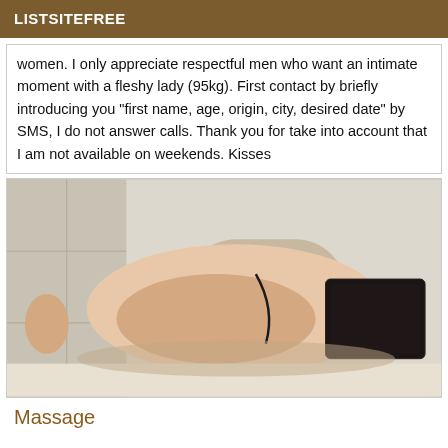LISTSITEFREE
women. I only appreciate respectful men who want an intimate moment with a fleshy lady (95kg). First contact by briefly introducing you "first name, age, origin, city, desired date" by SMS, I do not answer calls. Thank you for take into account that I am not available on weekends. Kisses
[Figure (photo): Photo of a person lying down, showing their back and wearing black lace underwear, taken in what appears to be a bathroom setting with tiled walls.]
Massage